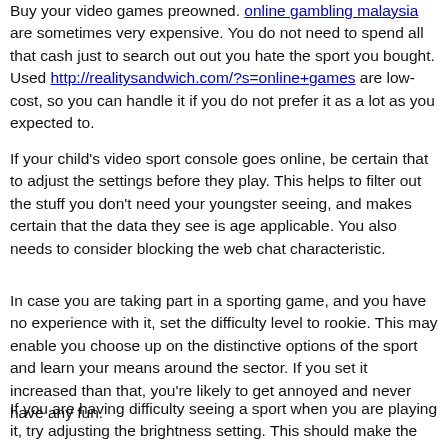Buy your video games preowned. online gambling malaysia are sometimes very expensive. You do not need to spend all that cash just to search out out you hate the sport you bought. Used http://realitysandwich.com/?s=online+games are low-cost, so you can handle it if you do not prefer it as a lot as you expected to.
If your child's video sport console goes online, be certain that to adjust the settings before they play. This helps to filter out the stuff you don't need your youngster seeing, and makes certain that the data they see is age applicable. You also needs to consider blocking the web chat characteristic.
In case you are taking part in a sporting game, and you have no experience with it, set the difficulty level to rookie. This may enable you choose up on the distinctive options of the sport and learn your means around the sector. If you set it increased than that, you're likely to get annoyed and never have any fun.
If you are having difficulty seeing a sport when you are playing it, try adjusting the brightness setting. This should make the screen